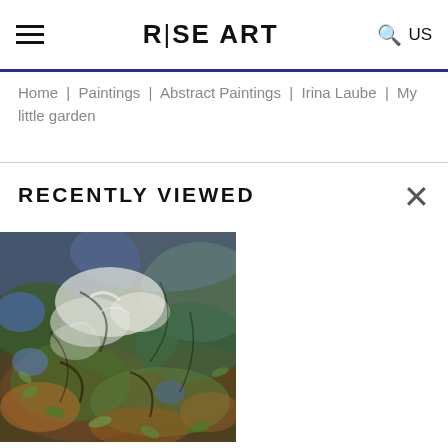R|SE ART
Home | Paintings | Abstract Paintings | Irina Laube | My little garden
RECENTLY VIEWED
[Figure (photo): Abstract painting by Irina Laube titled 'My little garden' – an impressionistic garden scene with greens, whites, blues, and oranges, heavy brushwork suggesting foliage and blossoms.]